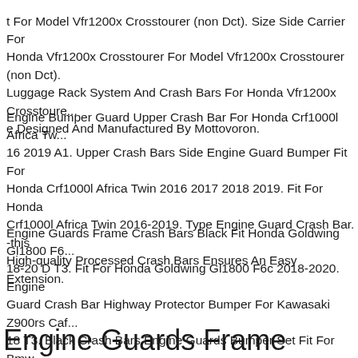t For Model Vfr1200x Crosstourer (non Dct). Size Side Carrier For Honda Vfr1200x Crosstourer For Model Vfr1200x Crosstourer (non Dct). Luggage Rack System And Crash Bars For Honda Vfr1200x Crosstourer. Designed And Manufactured By Mottovoron.
Engine Bumper Guard Upper Crash Bar For Honda Crf1000l Africa Twin 2016 2019 A1. Upper Crash Bars Side Engine Guard Bumper Fit For Honda Crf1000l Africa Twin 2016 2017 2018 2019. Fit For Honda Crf1000l Africa Twin 2016-2019. Type Engine Guard Crash Bar. -this High-quality Processed Crash Bars Ensures An Easy Extension.
Engine Guards Frame Crash Bars Black Fit Honda Goldwing Gl1800 F6c 2018-20 D T3. Fit For Honda Goldwing Gl1800 F6c 2018-2020. Engine Guard Crash Bar Highway Protector Bumper For Kawasaki Z900rs Cafe 2018 T3. Black Crash Bars Engine Guards Bumper Set Fit For Bmw F900r F900xr 2020 2021 T3.
Engine Guards Frame Crash Bars Chrome Fit Honda Goldwing Gl1800